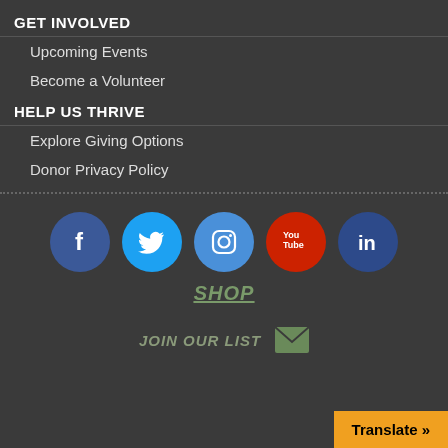GET INVOLVED
Upcoming Events
Become a Volunteer
HELP US THRIVE
Explore Giving Options
Donor Privacy Policy
[Figure (infographic): Row of five social media icon circles: Facebook (dark blue), Twitter (light blue), Instagram (medium blue), YouTube (red), LinkedIn (dark blue)]
SHOP
JOIN OUR LIST
Translate »